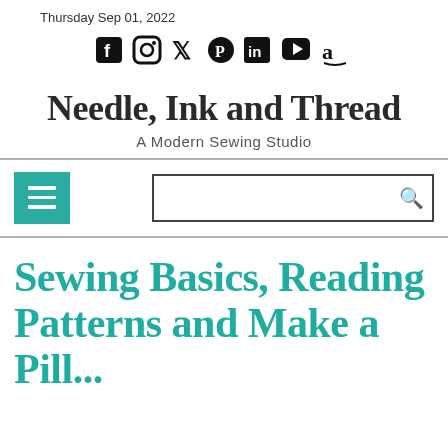Thursday Sep 01, 2022
[Figure (infographic): Social media icons row: Facebook, Instagram, Twitter, Pinterest, LinkedIn, YouTube, Amazon]
Needle, Ink and Thread
A Modern Sewing Studio
[Figure (infographic): Navigation bar with teal hamburger menu button and search bar with magnifying glass icon]
Sewing Basics, Reading Patterns and Make a Pill...